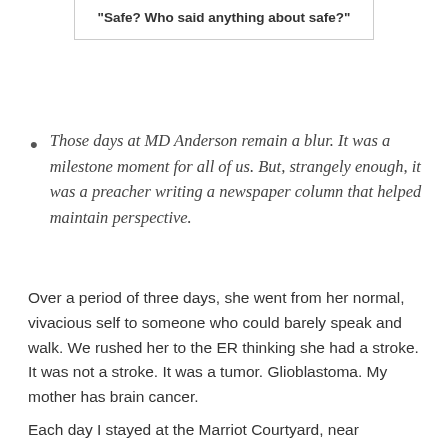[Figure (illustration): Partial illustration at top (cropped) with a bordered card showing a quote: "Safe? Who said anything about safe?"]
Those days at MD Anderson remain a blur. It was a milestone moment for all of us. But, strangely enough, it was a preacher writing a newspaper column that helped maintain perspective.
Over a period of three days, she went from her normal, vivacious self to someone who could barely speak and walk. We rushed her to the ER thinking she had a stroke. It was not a stroke. It was a tumor. Glioblastoma. My mother has brain cancer.
Each day I stayed at the Marriot Courtyard, near